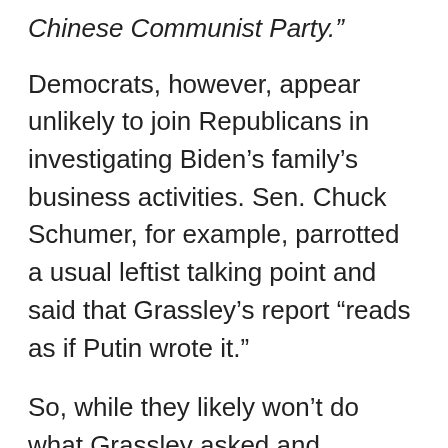Chinese Communist Party.”
Democrats, however, appear unlikely to join Republicans in investigating Biden’s family’s business activities. Sen. Chuck Schumer, for example, parrotted a usual leftist talking point and said that Grassley’s report “reads as if Putin wrote it.”
So, while they likely won’t do what Grassley asked and investigate Biden with the same energy as they persecuted Trump during the endless Russia hearing, they’re still using the same, disproven talking points.